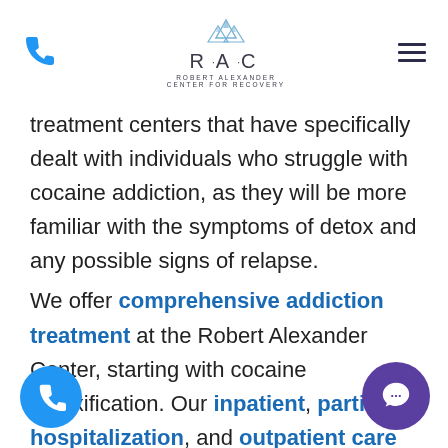RAC - Robert Alexander Center for Recovery header with phone icon and hamburger menu
treatment centers that have specifically dealt with individuals who struggle with cocaine addiction, as they will be more familiar with the symptoms of detox and any possible signs of relapse.
We offer comprehensive addiction treatment at the Robert Alexander Center, starting with cocaine detoxification. Our inpatient, partial hospitalization, and outpatient care program designed to support our clients through addiction treatment in the safest and most